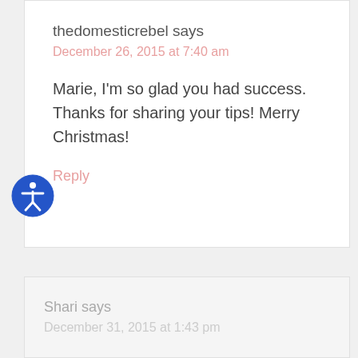thedomesticrebel says
December 26, 2015 at 7:40 am
Marie, I'm so glad you had success. Thanks for sharing your tips! Merry Christmas!
Reply
[Figure (illustration): Blue accessibility icon — circle with a person figure inside, wheelchair accessibility symbol]
Shari says
December 31, 2015 at 1:43 pm